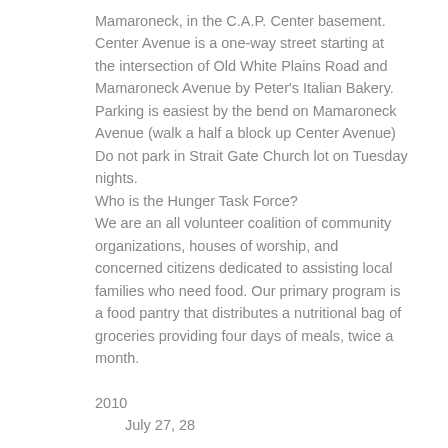Mamaroneck, in the C.A.P. Center basement. Center Avenue is a one-way street starting at the intersection of Old White Plains Road and Mamaroneck Avenue by Peter's Italian Bakery. Parking is easiest by the bend on Mamaroneck Avenue (walk a half a block up Center Avenue) Do not park in Strait Gate Church lot on Tuesday nights.
Who is the Hunger Task Force?
We are an all volunteer coalition of community organizations, houses of worship, and concerned citizens dedicated to assisting local families who need food. Our primary program is a food pantry that distributes a nutritional bag of groceries providing four days of meals, twice a month.
2010
July 27, 28